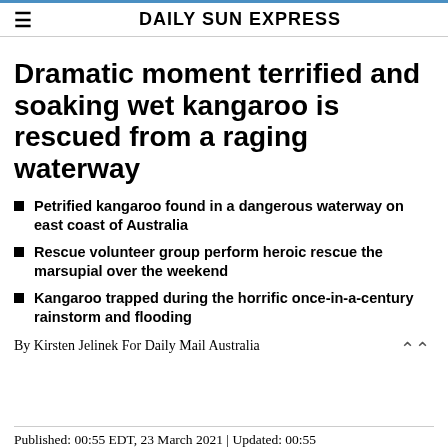DAILY SUN EXPRESS
Dramatic moment terrified and soaking wet kangaroo is rescued from a raging waterway
Petrified kangaroo found in a dangerous waterway on east coast of Australia
Rescue volunteer group perform heroic rescue the marsupial over the weekend
Kangaroo trapped during the horrific once-in-a-century rainstorm and flooding
By Kirsten Jelinek For Daily Mail Australia
Published: 00:55 EDT, 23 March 2021 | Updated: 00:55